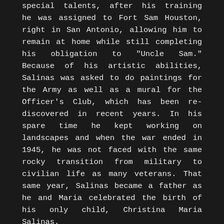special talents, after his training he was assigned to Fort Sam Houston, right in San Antonio, allowing him to remain at home while still completing his obligation to "Uncle Sam." Because of his artistic abilities, Salinas was asked to do paintings for the Army as well as a mural for the Officer's Club, which has been re-discovered in recent years. In his spare time he kept working on landscapes and when the war ended in 1945, he was not faced with the same rocky transition from military to civilian life as many veterans. That same year, Salinas became a father as he and Maria celebrated the birth of his only child, Christina Maria Salinas.

Like most landscape artists of the era, Salinas was an avid Plein-air painter, and he took his easel and paint box with him on trips throughout Texas and into Mexico. He and his wife traveled deep into her native country, where the artist painted the majestic volcanic peaks of Iztaccihuatl (known as the "Sleeping Woman" because of its unique shape) and